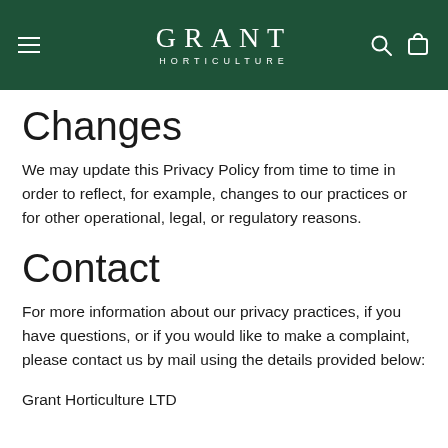GRANT HORTICULTURE
Changes
We may update this Privacy Policy from time to time in order to reflect, for example, changes to our practices or for other operational, legal, or regulatory reasons.
Contact
For more information about our privacy practices, if you have questions, or if you would like to make a complaint, please contact us by mail using the details provided below:
Grant Horticulture LTD